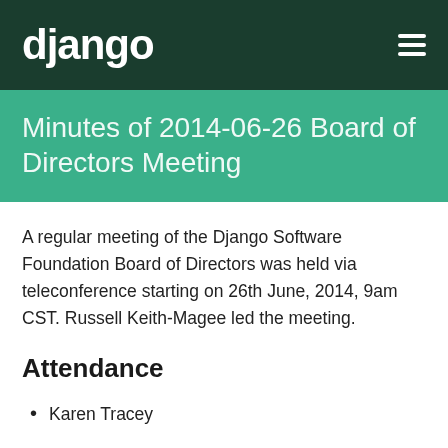django
Minutes of 2014-06-26 Board of Directors Meeting
A regular meeting of the Django Software Foundation Board of Directors was held via teleconference starting on 26th June, 2014, 9am CST. Russell Keith-Magee led the meeting.
Attendance
Karen Tracey